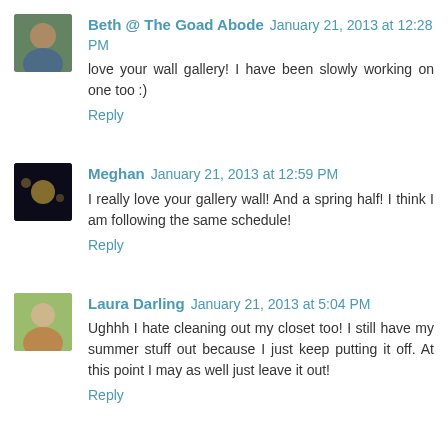[Figure (photo): Avatar photo of Beth @ The Goad Abode, woman with dark hair outdoors]
Beth @ The Goad Abode  January 21, 2013 at 12:28 PM
love your wall gallery! I have been slowly working on one too :)
Reply
[Figure (photo): Avatar photo of Meghan, nighttime scene with lights]
Meghan  January 21, 2013 at 12:59 PM
I really love your gallery wall! And a spring half! I think I am following the same schedule!
Reply
[Figure (photo): Avatar photo of Laura Darling, young woman smiling]
Laura Darling  January 21, 2013 at 5:04 PM
Ughhh I hate cleaning out my closet too! I still have my summer stuff out because I just keep putting it off. At this point I may as well just leave it out!
Reply